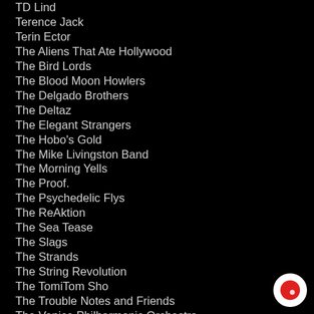TD Lind
Terence Jack
Terin Ector
The Aliens That Ate Hollywood
The Bird Lords
The Blood Moon Howlers
The Delgado Brothers
The Deltaz
The Elegant Strangers
The Hobo's Gold
The Mike Livingston Band
The Morning Yells
The Proof.
The Psychedelic Flys
The ReAktion
The Sea Tease
The Slags
The Strands
The String Revolution
The TomiTom Sho
The Trouble Notes and Friends
The Venice Philharmonic Orchestra
The Walking Ghost Phase
The Zmed Brothers
This Way North